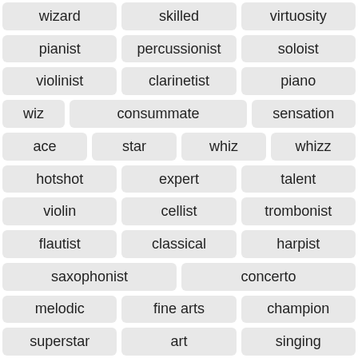wizard
skilled
virtuosity
pianist
percussionist
soloist
violinist
clarinetist
piano
wiz
consummate
sensation
ace
star
whiz
whizz
hotshot
expert
talent
violin
cellist
trombonist
flautist
classical
harpist
saxophonist
concerto
melodic
fine arts
champion
superstar
art
singing